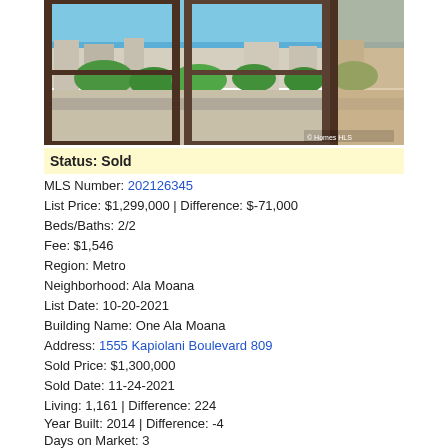[Figure (photo): Interior view through open windows looking out over a neighborhood with green trees and ocean/sky in the background. Urban Hawaii setting.]
Status: Sold
MLS Number: 202126345
List Price: $1,299,000 | Difference: $-71,000
Beds/Baths: 2/2
Fee: $1,546
Region: Metro
Neighborhood: Ala Moana
List Date: 10-20-2021
Building Name: One Ala Moana
Address: 1555 Kapiolani Boulevard 809
Sold Price: $1,300,000
Sold Date: 11-24-2021
Living: 1,161 | Difference: 224
Year Built: 2014 | Difference: -4
Days on Market: 3